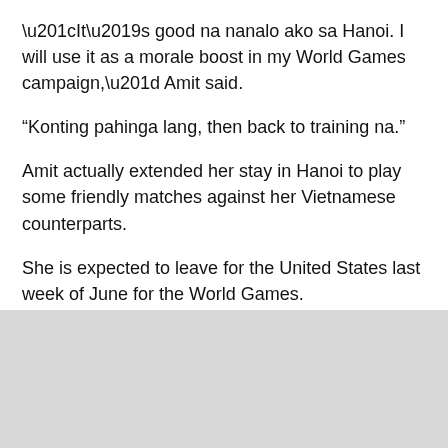“It’s good na nanalo ako sa Hanoi. I will use it as a morale boost in my World Games campaign,” Amit said.
“Konting pahinga lang, then back to training na.”
Amit actually extended her stay in Hanoi to play some friendly matches against her Vietnamese counterparts.
She is expected to leave for the United States last week of June for the World Games.
Aside from Amit, Carlo Biado is also representing the country in the World Games.
Biado ruled the 10-ball and finished silver in the 9-ball of